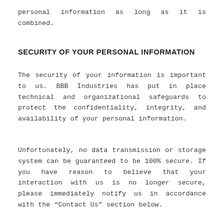personal information as long as it is combined.
SECURITY OF YOUR PERSONAL INFORMATION
The security of your information is important to us. BBB Industries has put in place technical and organizational safeguards to protect the confidentiality, integrity, and availability of your personal information.
Unfortunately, no data transmission or storage system can be guaranteed to be 100% secure. If you have reason to believe that your interaction with us is no longer secure, please immediately notify us in accordance with the “Contact Us” section below.